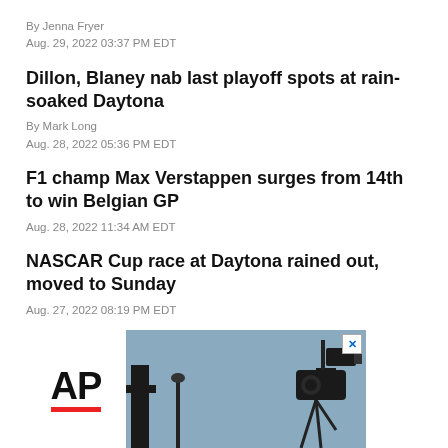By Jenna Fryer
Aug. 29, 2022 03:37 PM EDT
Dillon, Blaney nab last playoff spots at rain-soaked Daytona
By Mark Long
Aug. 28, 2022 05:36 PM EDT
F1 champ Max Verstappen surges from 14th to win Belgian GP
Aug. 28, 2022 11:34 AM EDT
NASCAR Cup race at Daytona rained out, moved to Sunday
Aug. 27, 2022 08:19 PM EDT
[Figure (photo): AP logo advertisement banner with camera equipment silhouette in background]